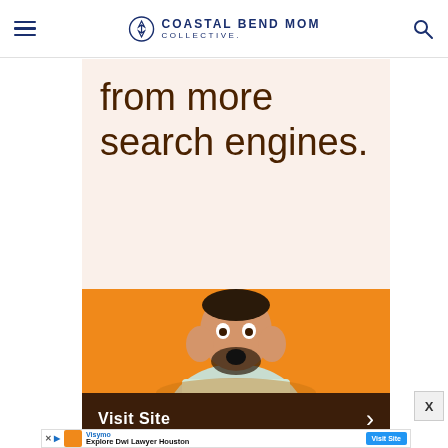Coastal Bend Mom Collective
from more search engines.
[Figure (photo): Advertisement banner with orange background showing a man with a surprised/shocked expression holding his face, with a 'Visit Site' call-to-action bar at the bottom in dark brown]
[Figure (infographic): Bottom ad strip: Visymo — Explore Dwi Lawyer Houston — Visit Site button]